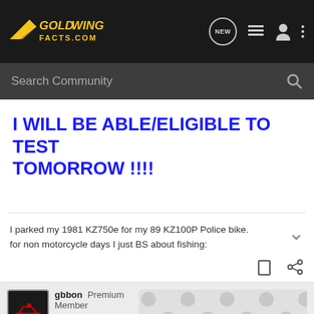GOLD WING FACTS.COM — navigation bar with NEW, list, user, menu icons and Search Community search bar
I WILL BE ABLE/ELIGIBLE TO TEST TOMORROW !!!!
I parked my 1981 KZ750e for my 89 KZ100P Police bike. for non motorcycle days I just BS about fishing:
gbbon  Premium Member  J...